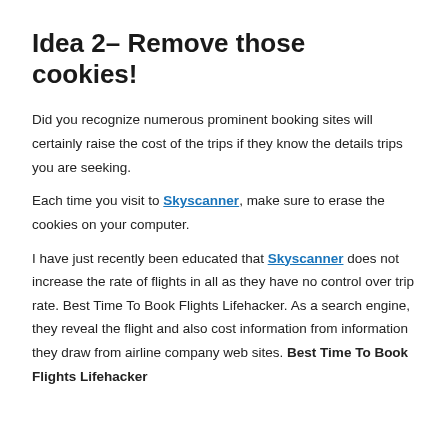Idea 2– Remove those cookies!
Did you recognize numerous prominent booking sites will certainly raise the cost of the trips if they know the details trips you are seeking.
Each time you visit to Skyscanner, make sure to erase the cookies on your computer.
I have just recently been educated that Skyscanner does not increase the rate of flights in all as they have no control over trip rate. Best Time To Book Flights Lifehacker. As a search engine, they reveal the flight and also cost information from information they draw from airline company web sites. Best Time To Book Flights Lifehacker